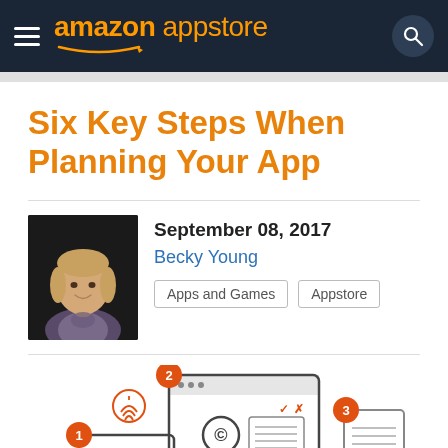amazon appstore
Six Key Steps When Planning Your App
September 08, 2017
Becky Young
Apps and Games  Appstore
[Figure (illustration): Illustration showing three numbered steps: step 1 with a fingerprint/ID card icon, step 2 with a browser window showing a copyright symbol and document with a red/orange scroll, and step 3 with a document/receipt icon. Steps are numbered with red-orange circular badges.]